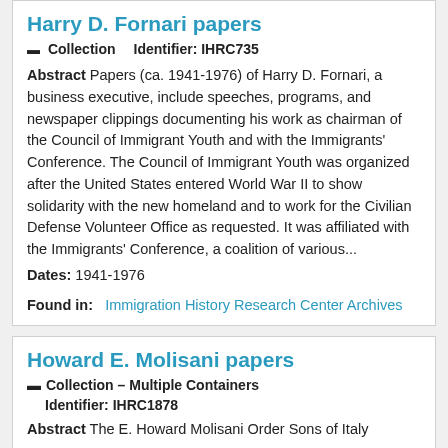Harry D. Fornari papers
Collection   Identifier: IHRC735
Abstract Papers (ca. 1941-1976) of Harry D. Fornari, a business executive, include speeches, programs, and newspaper clippings documenting his work as chairman of the Council of Immigrant Youth and with the Immigrants' Conference. The Council of Immigrant Youth was organized after the United States entered World War II to show solidarity with the new homeland and to work for the Civilian Defense Volunteer Office as requested. It was affiliated with the Immigrants' Conference, a coalition of various...
Dates: 1941-1976
Found in:   Immigration History Research Center Archives
Howard E. Molisani papers
Collection — Multiple Containers
Identifier: IHRC1878
Abstract The E. Howard Molisani Order Sons of Italy